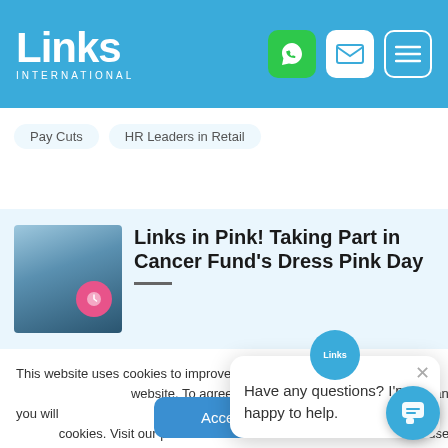Links International
Pay Cuts   HR Leaders in Retail
Links in Pink! Taking Part in Cancer Fund's Dress Pink Day
This website uses cookies to improve your browsing experience and the performance of this website. To agree to our use of cookies, click accept and you will continue to use the website. You can choose to refuse cookies or restrict cookies. Visit our privacy policy to find out about the cookies we use and the steps you can take to change your preferences. Find out more.
Have any questions? I'm happy to help.